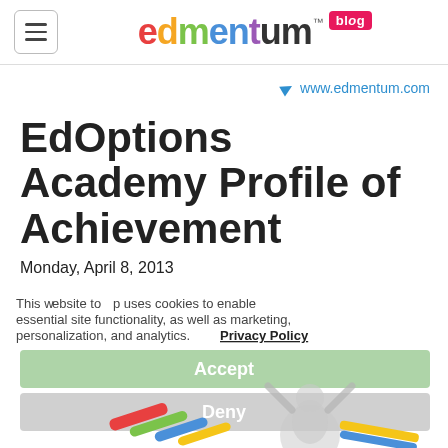edmentum blog
www.edmentum.com
EdOptions Academy Profile of Achievement
Monday, April 8, 2013
This website uses cookies to enable essential site functionality, as well as marketing, personalization, and analytics. Privacy Policy
[Figure (illustration): Cookie consent banner with Accept and Deny buttons, overlaid with a 3D figure character and colorful ribbon bands at the bottom]
Accept
Deny